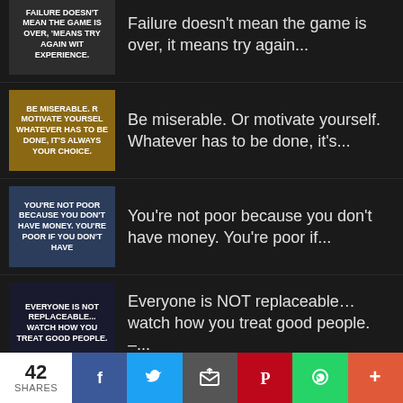[Figure (illustration): Motivational quote image: FAILURE DOESN'T MEAN THE GAME IS OVER, IT MEANS TRY AGAIN WITH EXPERIENCE.]
Failure doesn't mean the game is over, it means try again...
[Figure (illustration): Motivational quote image: BE MISERABLE. OR MOTIVATE YOURSELF. WHATEVER HAS TO BE DONE, IT'S ALWAYS YOUR CHOICE.]
Be miserable. Or motivate yourself. Whatever has to be done, it's...
[Figure (illustration): Motivational quote image: YOU'RE NOT POOR BECAUSE YOU DON'T HAVE MONEY. YOU'RE POOR IF YOU DON'T HAVE]
You're not poor because you don't have money. You're poor if...
[Figure (illustration): Motivational quote image: EVERYONE IS NOT REPLACEABLE... WATCH HOW YOU TREAT GOOD PEOPLE. — UNKNOWN]
Everyone is NOT replaceable… watch how you treat good people. –...
[Figure (illustration): Motivational quote image: AS LONG AS YOU ARE BREATHING EVERYTHING IS...]
As long as you are breathing, everything is possible. Never quit...
42 SHARES | Facebook | Twitter | Email | Pinterest | WhatsApp | More